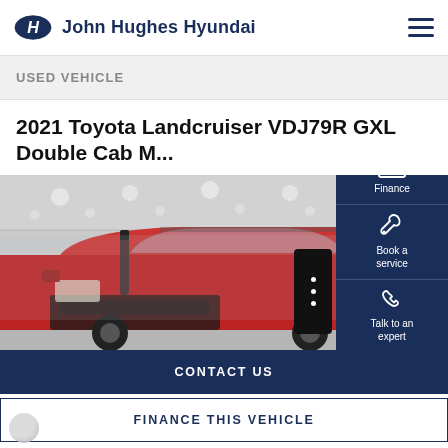John Hughes Hyundai
USED VEHICLE
2021 Toyota Landcruiser VDJ79R GXL Double Cab M...
[Figure (photo): Red Toyota Land Cruiser 4WD photographed from front-right angle inside a showroom/warehouse with visible ceiling lights and steel roof structure]
Book a test drive
Finance
Book a service
Talk to an expert
Locate Us
CONTACT US
FINANCE THIS VEHICLE